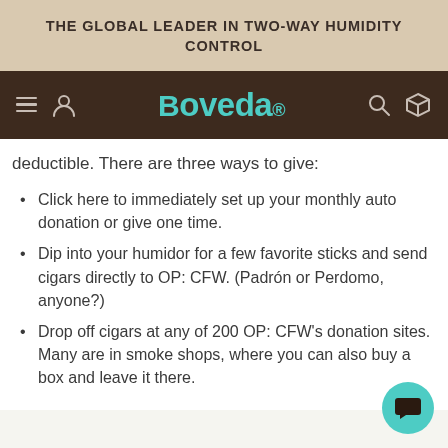THE GLOBAL LEADER IN TWO-WAY HUMIDITY CONTROL
[Figure (logo): Boveda brand navigation bar with hamburger menu, user icon, teal Boveda logo, search icon, and box icon on dark brown background]
deductible. There are three ways to give:
Click here to immediately set up your monthly auto donation or give one time.
Dip into your humidor for a few favorite sticks and send cigars directly to OP: CFW. (Padrón or Perdomo, anyone?)
Drop off cigars at any of 200 OP: CFW's donation sites. Many are in smoke shops, where you can also buy a box and leave it there.